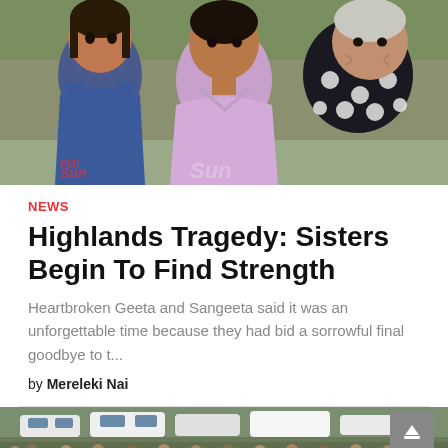[Figure (photo): Three women standing together outdoors — a young girl on the left in a blue dress, a middle-aged woman in the center in a pink/lavender top, and an elderly woman on the right in a black polka-dot top.]
NEWS
Highlands Tragedy: Sisters Begin To Find Strength
Heartbroken Geeta and Sangeeta said it was an unforgettable time because they had bid a sorrowful final goodbye to t...
by Mereleki Nai
[Figure (photo): A large crowd of people gathered outdoors, with many cars and vans visible in a parking area behind them. People are seated and standing in an open grassy area.]